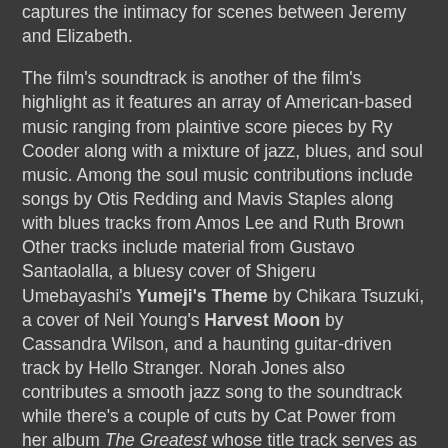captures the intimacy for scenes between Jeremy and Elizabeth.
The film's soundtrack is another of the film's highlight as it features an array of American-based music ranging from plaintive score pieces by Ry Cooder along with a mixture of jazz, blues, and soul music. Among the soul music contributions include songs by Otis Redding and Mavis Staples along with blues tracks from Amos Lee and Ruth Brown Other tracks include material from Gustavo Santaolalla, a bluesy cover of Shigeru Umebayashi's Yumeji's Theme by Chikara Tsuzuki, a cover of Neil Young's Harvest Moon by Cassandra Wilson, and a haunting guitar-driven track by Hello Stranger. Norah Jones also contributes a smooth jazz song to the soundtrack while there's a couple of cuts by Cat Power from her album The Greatest whose title track serves as the love theme for Jeremy and Elizabeth.
The casting by Avy Kaufman is really good as it features some memorable appearances from Frankie Faison as the Memphis bar owner, Adriane Lenox as a bar waitress, Michael May as Leslie's poker rival, and Chan Marshall aka Cat Power...